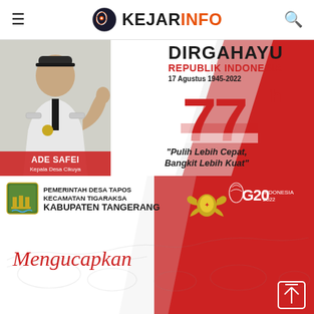KEJARINFO
[Figure (photo): Indonesian independence day banner with official in white uniform (ADE SAFEI, Kepala Desa Cikuya) on red and white background, text: DIRGAHAYU REPUBLIK INDONESIA 17 Agustus 1945-2022, 77th, Pulih Lebih Cepat Bangkit Lebih Kuat]
[Figure (photo): Government banner: Pemerintah Desa Tapos Kecamatan Tigaraksa Kabupaten Tangerang Mengucapkan, with Indonesia map silhouette, Garuda emblem, G20 Indonesia 2022 logo on red background]